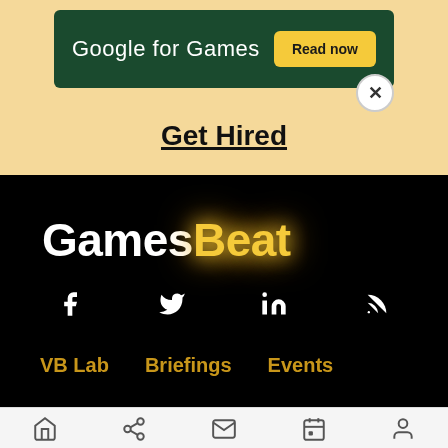[Figure (screenshot): Advertisement banner for Google for Games with dark green background, white text 'Google for Games' and yellow 'Read now' button]
Get Hired
[Figure (logo): GamesBeat logo in white and golden-yellow glowing text on black background, with social media icons (Facebook, Twitter, LinkedIn, RSS) below]
VB Lab
Briefings
Events
Navigation bar with home, share, email, calendar, and profile icons